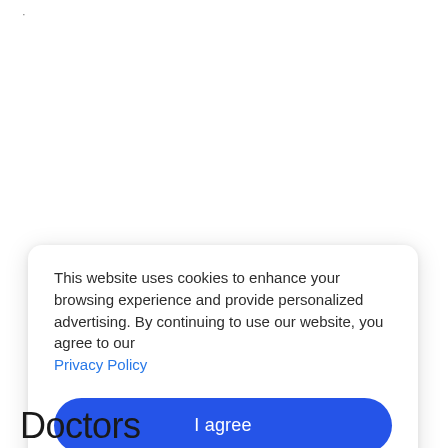·
This website uses cookies to enhance your browsing experience and provide personalized advertising. By continuing to use our website, you agree to our Privacy Policy
I agree
Doctors